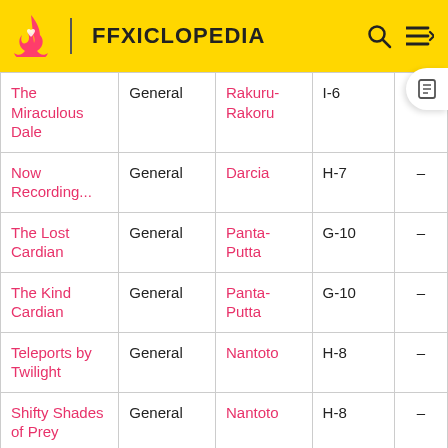FFXICLOPEDIA
| Quest | Type | NPC | Location | Gil |
| --- | --- | --- | --- | --- |
| The Miraculous Dale | General | Rakuru-Rakoru | I-6 | – |
| Now Recording... | General | Darcia | H-7 | – |
| The Lost Cardian | General | Panta-Putta | G-10 | – |
| The Kind Cardian | General | Panta-Putta | G-10 | – |
| Teleports by Twilight | General | Nantoto | H-8 | – |
| Shifty Shades of Prey | General | Nantoto | H-8 | – |
| To Kill Mocking Birds | General | Nantoto | H-8 | – |